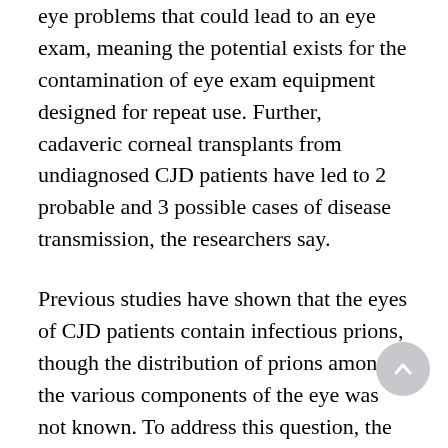eye problems that could lead to an eye exam, meaning the potential exists for the contamination of eye exam equipment designed for repeat use. Further, cadaveric corneal transplants from undiagnosed CJD patients have led to 2 probable and 3 possible cases of disease transmission, the researchers say.
Previous studies have shown that the eyes of CJD patients contain infectious prions, though the distribution of prions among the various components of the eye was not known. To address this question, the scientists recruited 11 CJD patients who agreed to donate their eyes upon death. The researchers found evidence of prion infection throughout the eyes of all 11 deceased